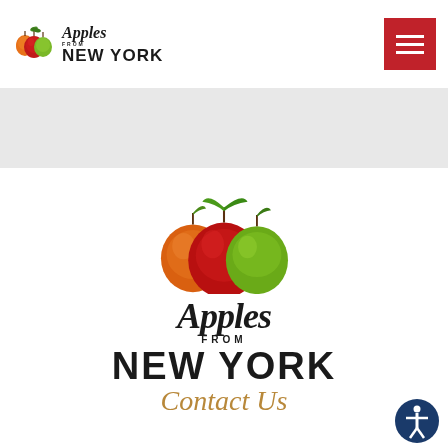[Figure (logo): Apples from New York logo - small version in top-left header with three apples (orange, red, green) above cursive text 'Apples' with 'FROM' and 'NEW YORK' below]
[Figure (other): Red hamburger menu button with three white horizontal lines]
[Figure (other): Golden/amber horizontal bar]
[Figure (logo): Apples from New York logo - large version centered showing three apples (orange, red, green) above cursive 'Apples' text with 'FROM' and 'NEW YORK' in bold block letters]
Contact Us